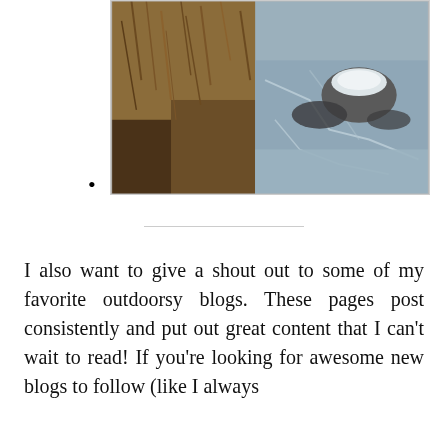[Figure (photo): Winter outdoor scene showing dried brown grass and reeds on the left bank, and an icy partially frozen creek or river on the right, with a snow-topped rock visible in the ice.]
•
I also want to give a shout out to some of my favorite outdoorsy blogs. These pages post consistently and put out great content that I can't wait to read! If you're looking for awesome new blogs to follow (like I always